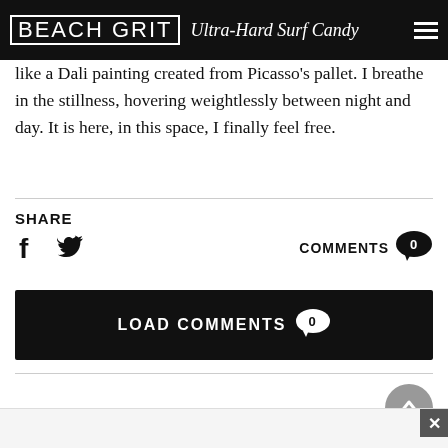BEACH GRIT Ultra-Hard Surf Candy
like a Dali painting created from Picasso's pallet. I breathe in the stillness, hovering weightlessly between night and day. It is here, in this space, I finally feel free.
SHARE
[Figure (screenshot): Social share icons: Facebook (f) and Twitter bird icon, plus COMMENTS 0 bubble on right]
[Figure (screenshot): LOAD COMMENTS 0 button - black bar with white bold text and white circle with 0]
[Figure (screenshot): Back to top circular grey button with up arrow chevron]
[Figure (screenshot): Advertisement bar at bottom with close X button]